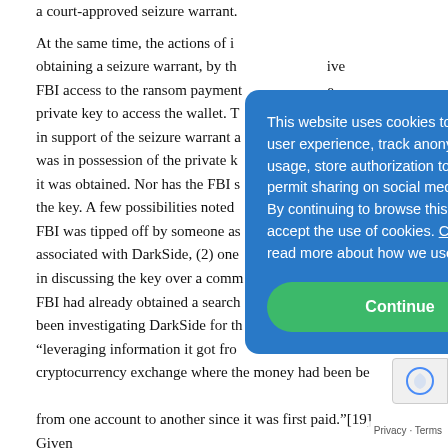a court-approved seizure warrant.
At the same time, the actions of i... obtaining a seizure warrant, by th... me FBI access to the ransom payment... private key to access the wallet. T... d in support of the seizure warrant a... FBI was in possession of the private k... w it was obtained. Nor has the FBI s... d the key. A few possibilities noted ... FBI was tipped off by someone as... associated with DarkSide, (2) one... s in discussing the key over a comm... e FBI had already obtained a search... d been investigating DarkSide for th... "leveraging information it got fro... cryptocurrency exchange where the money had been b... from one account to another since it was first paid."[19] Given
This website uses cookies to improve user experience, track anonymous site usage, store authorization tokens and permit sharing on social media networks. By continuing to browse this website you accept the use of cookies. Click here to read more about how we use cookies.
Continue